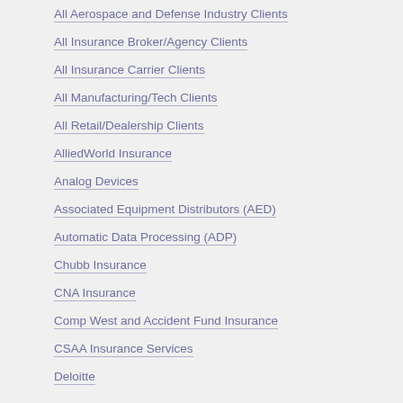All Aerospace and Defense Industry Clients
All Insurance Broker/Agency Clients
All Insurance Carrier Clients
All Manufacturing/Tech Clients
All Retail/Dealership Clients
AlliedWorld Insurance
Analog Devices
Associated Equipment Distributors (AED)
Automatic Data Processing (ADP)
Chubb Insurance
CNA Insurance
Comp West and Accident Fund Insurance
CSAA Insurance Services
Deloitte